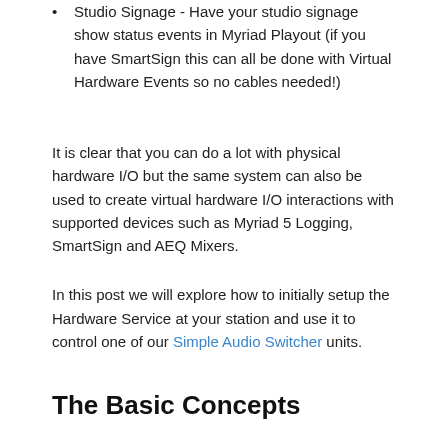Studio Signage - Have your studio signage show status events in Myriad Playout (if you have SmartSign this can all be done with Virtual Hardware Events so no cables needed!)
It is clear that you can do a lot with physical hardware I/O but the same system can also be used to create virtual hardware I/O interactions with supported devices such as Myriad 5 Logging, SmartSign and AEQ Mixers.
In this post we will explore how to initially setup the Hardware Service at your station and use it to control one of our Simple Audio Switcher units.
The Basic Concepts
In previous versions of Myriad, hardware I/O support was